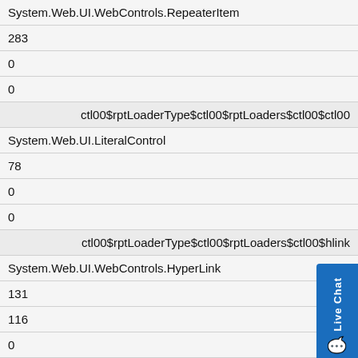| System.Web.UI.WebControls.RepeaterItem |
| 283 |
| 0 |
| 0 |
| ctl00$rptLoaderType$ctl00$rptLoaders$ctl00$ctl00 |
| System.Web.UI.LiteralControl |
| 78 |
| 0 |
| 0 |
| ctl00$rptLoaderType$ctl00$rptLoaders$ctl00$hlink |
| System.Web.UI.WebControls.HyperLink |
| 131 |
| 116 |
| 0 |
| ctl00$rptLoaderType$ctl00$rptLoaders$ctl00$ctl01 |
| System.Web.UI.LiteralControl |